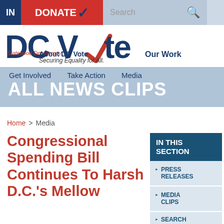[Figure (screenshot): DC Vote website header with navigation. Top bar includes JOIN button (dark blue), DONATE button (red), and search bar. DC Vote logo with checkmark. Navigation includes About DC Vote, Our Work, Get Involved, Take Action, Media. Blue banner with ALL NEWS CLIPS title.]
Home > Media
Congressional Spending Bill Continues To Harsh D.C.'s Mellow
IN THIS SECTION
PRESS RELEASES
MEDIA CLIPS
SEARCH